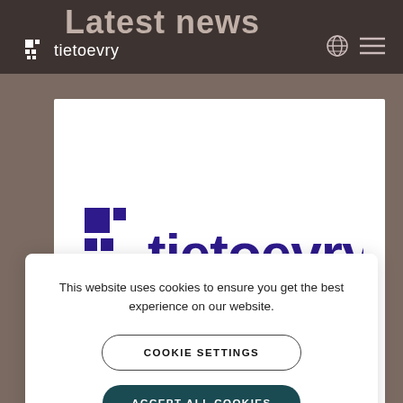Latest news
[Figure (logo): Tietoevry logo small white in header nav bar]
[Figure (logo): Large Tietoevry logo in purple on white card background]
This website uses cookies to ensure you get the best experience on our website.
COOKIE SETTINGS
ACCEPT ALL COOKIES